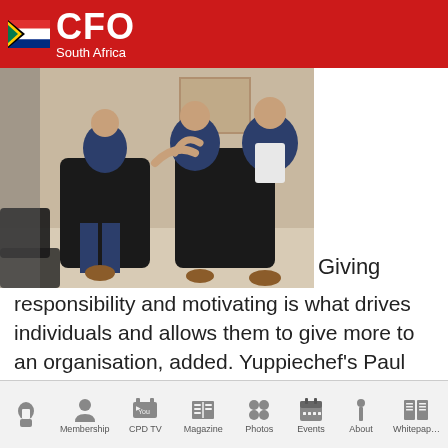CFO South Africa
[Figure (photo): Three men in suits seated in black armchairs in a business discussion setting, photographed in a bright room]
Giving responsibility and motivating is what drives individuals and allows them to give more to an organisation, added. Yuppiechef's Paul Galatis. The company that he co-founded started as a flat business structure of three people, morphed into a
Home | Membership | CPD TV | Magazine | Photos | Events | About | Whitepaper